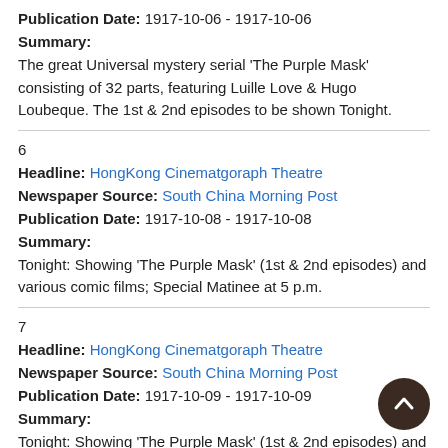Publication Date: 1917-10-06 - 1917-10-06
Summary:
The great Universal mystery serial 'The Purple Mask' consisting of 32 parts, featuring Luille Love & Hugo Loubeque. The 1st & 2nd episodes to be shown Tonight.
6
Headline: HongKong Cinematgoraph Theatre
Newspaper Source: South China Morning Post
Publication Date: 1917-10-08 - 1917-10-08
Summary:
Tonight: Showing 'The Purple Mask' (1st & 2nd episodes) and various comic films; Special Matinee at 5 p.m.
7
Headline: HongKong Cinematgoraph Theatre
Newspaper Source: South China Morning Post
Publication Date: 1917-10-09 - 1917-10-09
Summary:
Tonight: Showing 'The Purple Mask' (1st & 2nd episodes) and various comic films.